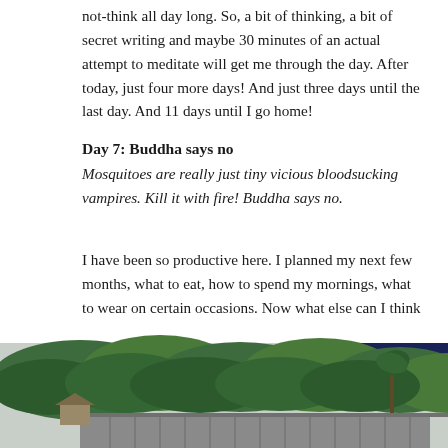not-think all day long. So, a bit of thinking, a bit of secret writing and maybe 30 minutes of an actual attempt to meditate will get me through the day. After today, just four more days! And just three days until the last day. And 11 days until I go home!
Day 7: Buddha says no
Mosquitoes are really just tiny vicious bloodsucking vampires. Kill it with fire! Buddha says no.
I have been so productive here. I planned my next few months, what to eat, how to spend my mornings, what to wear on certain occasions. Now what else can I think about?
[Figure (photo): Outdoor photograph showing a lush green hillside covered with tropical trees, with a roofline visible in the lower right and a dark triangular geometric shape (possibly a rooftop or architectural element) partially visible at upper right. The scene appears to be a tropical or subtropical setting.]